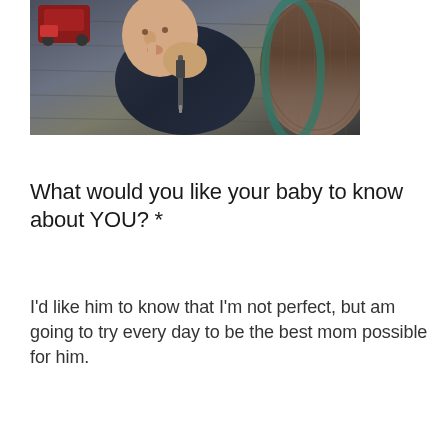[Figure (photo): Baby/toddler in dark navy outfit lying in a woven basket or bowl, holding small tools, with a red toy car visible in the upper left corner. Shot from above on a wooden surface.]
What would you like your baby to know about YOU? *
I'd like him to know that I'm not perfect, but am going to try every day to be the best mom possible for him.